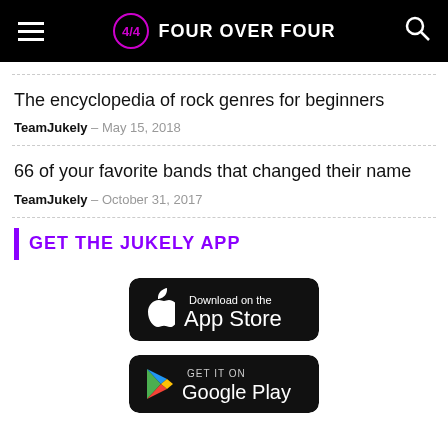FOUR OVER FOUR
The encyclopedia of rock genres for beginners
TeamJukely - May 15, 2018
66 of your favorite bands that changed their name
TeamJukely - October 31, 2017
GET THE JUKELY APP
[Figure (other): Download on the App Store badge]
[Figure (other): Get it on Google Play badge]